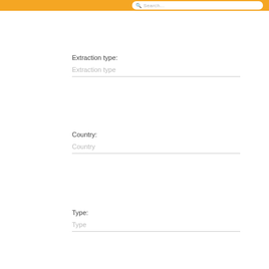Search...
Extraction type:
Extraction type
Country:
Country
Type:
Type